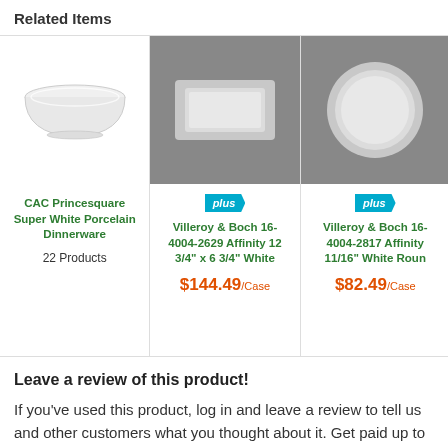Related Items
[Figure (photo): CAC Princesquare Super White Porcelain bowl on white background]
CAC Princesquare Super White Porcelain Dinnerware
22 Products
[Figure (photo): Villeroy & Boch rectangular white plate on grey background with 'plus' badge]
Villeroy & Boch 16-4004-2629 Affinity 12 3/4" x 6 3/4" White
$144.49/Case
[Figure (photo): Villeroy & Boch round white plate on grey background with 'plus' badge]
Villeroy & Boch 16-4004-2817 Affinity 11/16" White Roun
$82.49/Case
Leave a review of this product!
If you've used this product, log in and leave a review to tell us and other customers what you thought about it. Get paid up to $16 for submitting one of the first text, photo, or video reviews for